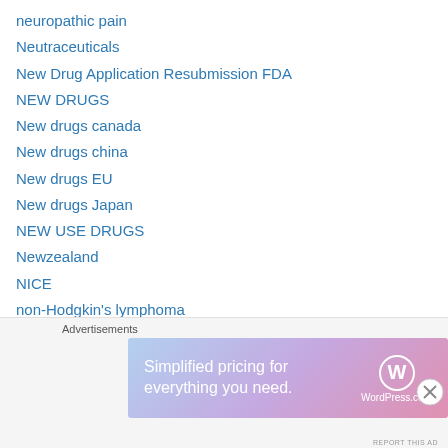neuropathic pain
Neutraceuticals
New Drug Application Resubmission FDA
NEW DRUGS
New drugs canada
New drugs china
New drugs EU
New drugs Japan
NEW USE DRUGS
Newzealand
NICE
non-Hodgkin's lymphoma
NUCLEOTIDES
obesity
OCCULAR
ocular hypertension
Advertisements
[Figure (infographic): WordPress.com advertisement banner: 'Simplified pricing for everything you need.' with WordPress.com logo on gradient background]